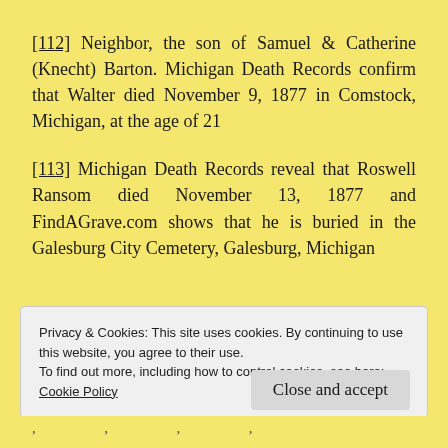[112] Neighbor, the son of Samuel & Catherine (Knecht) Barton. Michigan Death Records confirm that Walter died November 9, 1877 in Comstock, Michigan, at the age of 21
[113] Michigan Death Records reveal that Roswell Ransom died November 13, 1877 and FindAGrave.com shows that he is buried in the Galesburg City Cemetery, Galesburg, Michigan
Privacy & Cookies: This site uses cookies. By continuing to use this website, you agree to their use.
To find out more, including how to control cookies, see here:
Cookie Policy